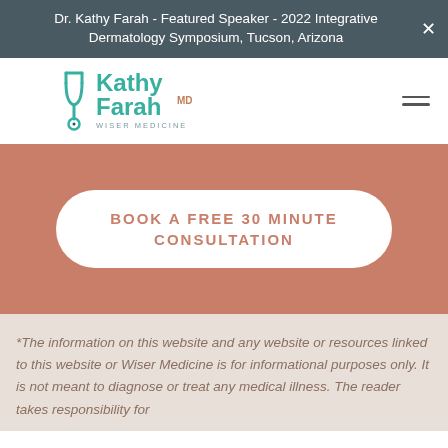Dr. Kathy Farah - Featured Speaker - 2022 Integrative Dermatology Symposium, Tucson, Arizona
[Figure (logo): Kathy Farah MD Wiser Medicine logo with teal stethoscope graphic]
BOOK A FREE 30 MINUTE CONSULTATION
*The information on this website and any website or resources linked to this website or Wiser Medicine is for informational purposes only. It is not meant to diagnose or treat any medical illness. The reader takes responsibility for